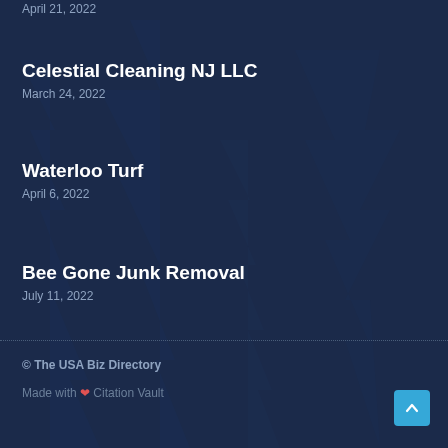April 21, 2022
Celestial Cleaning NJ LLC
March 24, 2022
Waterloo Turf
April 6, 2022
Bee Gone Junk Removal
July 11, 2022
© The USA Biz Directory
Made with ❤ Citation Vault